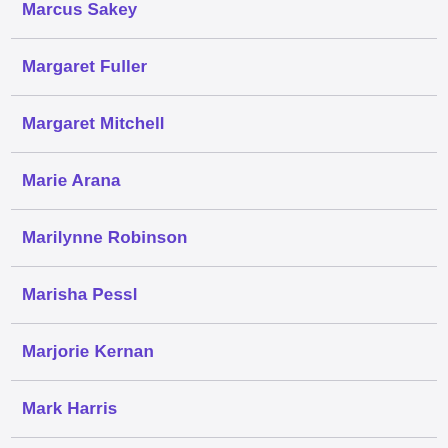Marcus Sakey
Margaret Fuller
Margaret Mitchell
Marie Arana
Marilynne Robinson
Marisha Pessl
Marjorie Kernan
Mark Harris
Mark Helprin